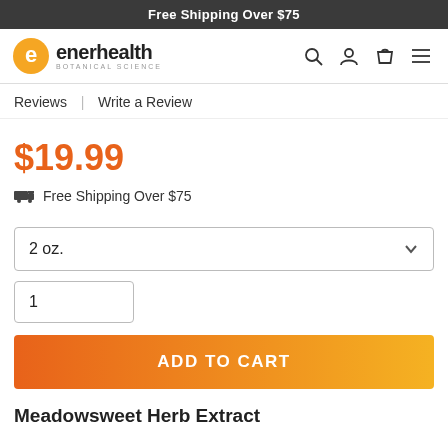Free Shipping Over $75
[Figure (logo): Enerhealth Botanical Science logo with orange circular 'e' icon and navigation icons (search, account, cart, menu)]
Reviews | Write a Review
$19.99
🚚 Free Shipping Over $75
2 oz.
1
ADD TO CART
Meadowsweet Herb Extract